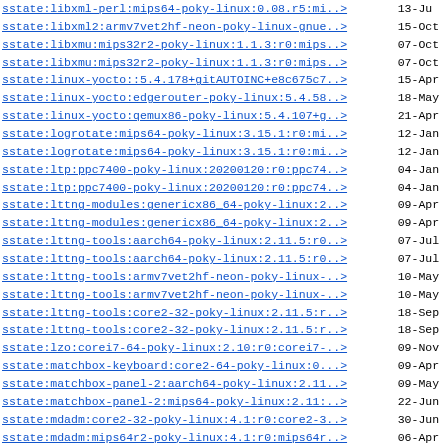| Package/Link | Date |
| --- | --- |
| sstate:libxml-perl:mips64-poky-linux:0.08.r5:mi..> | 13-Ju |
| sstate:libxml2:armv7vet2hf-neon-poky-linux-gnue..> | 15-Oct |
| sstate:libxmu:mips32r2-poky-linux:1.1.3:r0:mips..> | 07-Oct |
| sstate:libxmu:mips32r2-poky-linux:1.1.3:r0:mips..> | 07-Oct |
| sstate:linux-yocto::5.4.178+gitAUTOINC+e8c675c7..> | 15-Apr |
| sstate:linux-yocto:edgerouter-poky-linux:5.4.58..> | 18-May |
| sstate:linux-yocto:qemux86-poky-linux:5.4.107+g..> | 21-Apr |
| sstate:logrotate:mips64-poky-linux:3.15.1:r0:mi..> | 12-Jan |
| sstate:logrotate:mips64-poky-linux:3.15.1:r0:mi..> | 12-Jan |
| sstate:ltp:ppc7400-poky-linux:20200120:r0:ppc74..> | 04-Jan |
| sstate:ltp:ppc7400-poky-linux:20200120:r0:ppc74..> | 04-Jan |
| sstate:lttng-modules:genericx86_64-poky-linux:2..> | 09-Apr |
| sstate:lttng-modules:genericx86_64-poky-linux:2..> | 09-Apr |
| sstate:lttng-tools:aarch64-poky-linux:2.11.5:r0..> | 07-Jul |
| sstate:lttng-tools:aarch64-poky-linux:2.11.5:r0..> | 07-Jul |
| sstate:lttng-tools:armv7vet2hf-neon-poky-linux-..> | 10-May |
| sstate:lttng-tools:armv7vet2hf-neon-poky-linux-..> | 10-May |
| sstate:lttng-tools:core2-32-poky-linux:2.11.5:r..> | 18-Sep |
| sstate:lttng-tools:core2-32-poky-linux:2.11.5:r..> | 18-Sep |
| sstate:lzo:corei7-64-poky-linux:2.10:r0:corei7-..> | 09-Nov |
| sstate:matchbox-keyboard:core2-64-poky-linux:0...> | 09-Apr |
| sstate:matchbox-panel-2:aarch64-poky-linux:2.11..> | 09-May |
| sstate:matchbox-panel-2:mips64-poky-linux:2.11:..> | 22-Jun |
| sstate:mdadm:core2-32-poky-linux:4.1:r0:core2-3..> | 30-Jun |
| sstate:mdadm:mips64r2-poky-linux:4.1:r0:mips64r..> | 06-Apr |
| sstate:mesa-demos:core2-32-poky-linux:8.4.0:r0:..> | 27-Jun |
| sstate:mesa-demos:core2-64-poky-linux:8.4.0:r0:..> | 28-Jan |
| sstate:meta-ide-support:aarch64-poky-linux:1.0:..> | 03-May |
| sstate:meta-ide-support:core2-64-poky-linux:1.0..> | 09-May |
| sstate:mpfr:cortexa8hf-neon-poky-linux-gnueabi:..> | 18-May |
| sstate:mpfr:cortexa8hf-neon-poky-linux-gnueabi:..> | 18-Ma |